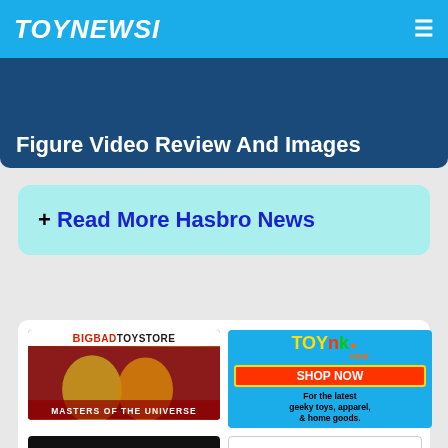TOYNEWSI
Figure Video Review And Images
+ Read More Hasbro News
[Figure (advertisement): BigBadToyStore advertisement with Masters of the Universe figures]
[Figure (advertisement): Toynk.com Shop Now advertisement for geeky toys, apparel, & home goods]
[Figure (logo): The Chosen Prime logo advertisement]
[Figure (logo): Entertainment Earth logo advertisement]